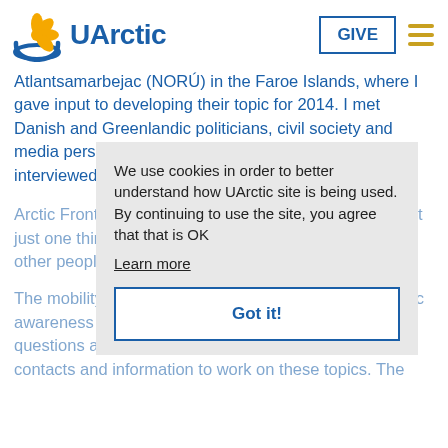UArctic
Atlantsamarbejac (NORS) in the Faroe Islands, where I gave input to developing their topic for 2014. I met Danish and Greenlandic politicians, civil society and media personalities, and the Associated Press also interviewed me.
Arctic Frontiers is so intense that it is difficult to highlight just one thing. I was privileged to meet business, and other people engaged in the Arctic.
We use cookies in order to better understand how UArctic site is being used. By continuing to use the site, you agree that that is OK
Learn more
Got it!
The mobility contributes to raising the circumpolAr Arctic awareness and think about broader circumpolar Arctic questions and developments, and also gives me the contacts and information to work on these topics. The